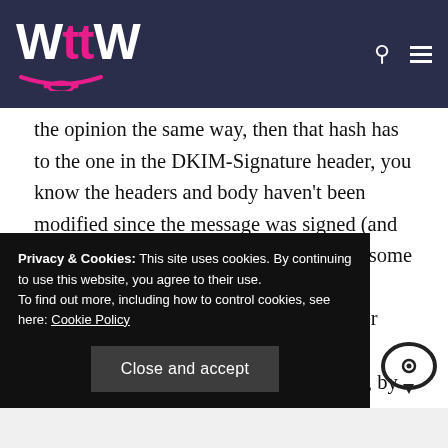WttW logo with navigation icons
the opinion the same way, then that hash has to the one in the DKIM-Signature header, you know the headers and body haven't been modified since the message was signed (and then you can do some DNS lookups and some cryptography to find who signed the message). Unfortunately, email was never designed to send messages unchanged. Intermediate – by folding, adding d ones, by
Privacy & Cookies: This site uses cookies. By continuing to use this website, you agree to their use.
To find out more, including how to control cookies, see here: Cookie Policy
Close and accept